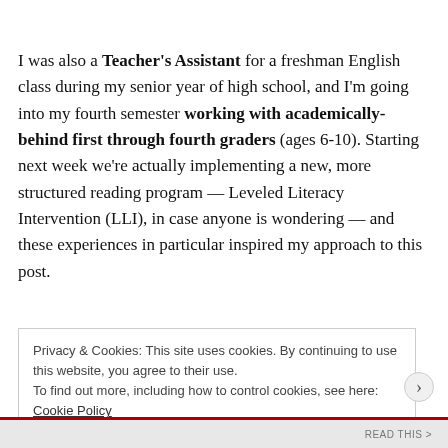I was also a Teacher's Assistant for a freshman English class during my senior year of high school, and I'm going into my fourth semester working with academically-behind first through fourth graders (ages 6-10). Starting next week we're actually implementing a new, more structured reading program — Leveled Literacy Intervention (LLI), in case anyone is wondering — and these experiences in particular inspired my approach to this post.
Privacy & Cookies: This site uses cookies. By continuing to use this website, you agree to their use.
To find out more, including how to control cookies, see here: Cookie Policy